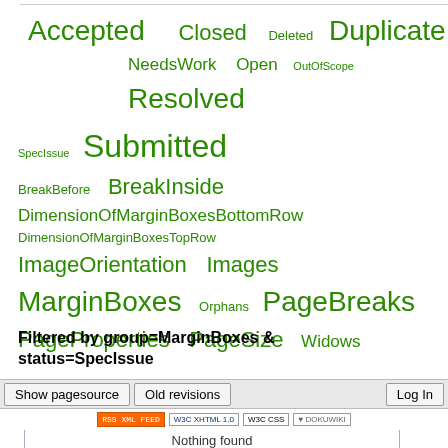[Figure (infographic): Tag cloud with terms in green at varying sizes: Accepted, Closed, Deleted, Duplicate, NeedsWork, Open, OutOfScope, Resolved, SpecIssue, Submitted, BreakBefore, BreakInside, DimensionOfMarginBoxesBottomRow, DimensionOfMarginBoxesTopRow, ImageOrientation, Images, MarginBoxes, Orphans, PageBreaks, PageProperties, PageSize, Widows]
Filtered by group=MarginBoxes & status=SpecIssue
Show all (remove filter/sort)
| Submission | Status | Authors | Groups | URL |
| --- | --- | --- | --- | --- |
| Nothing found |  |  |  |  |
test/css2.1/submit.txt · Last modified: 2014/12/09 15:48 (external edit)
Show pagesource   Old revisions   Log In